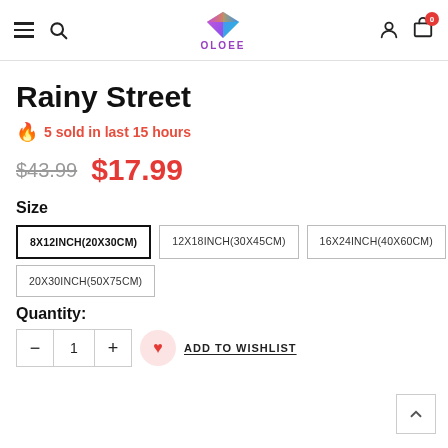OLOEE - navigation header with menu, search, logo, user, cart
Rainy Street
🔥 5 sold in last 15 hours
$43.99  $17.99
Size
8X12INCH(20X30CM)
12X18INCH(30X45CM)
16X24INCH(40X60CM)
20X30INCH(50X75CM)
Quantity:
- 1 + ♥ ADD TO WISHLIST